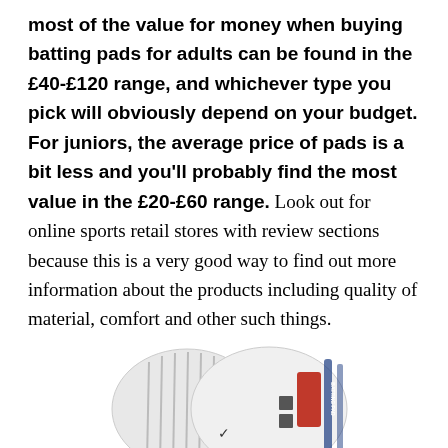most of the value for money when buying batting pads for adults can be found in the £40-£120 range, and whichever type you pick will obviously depend on your budget. For juniors, the average price of pads is a bit less and you'll probably find the most value in the £20-£60 range. Look out for online sports retail stores with review sections because this is a very good way to find out more information about the products including quality of material, comfort and other such things.
[Figure (photo): Two white cricket batting pads side by side, with a red and grey logo visible on the right pad and blue trim.]